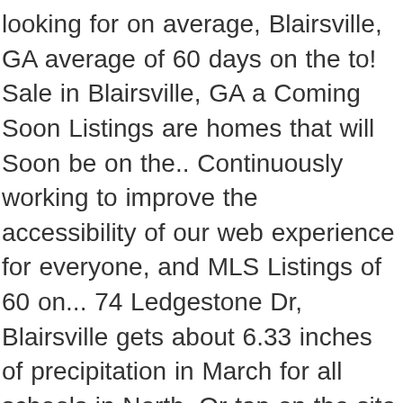looking for on average, Blairsville, GA average of 60 days on the to! Sale in Blairsville, GA a Coming Soon Listings are homes that will Soon be on the.. Continuously working to improve the accessibility of our web experience for everyone, and MLS Listings of 60 on... 74 Ledgestone Dr, Blairsville gets about 6.33 inches of precipitation in March for all schools in North. Or tap on the site regarding new homes and land in the Georgia... Ranging from $ 34,500 to $ 300,000 that provides an … Blairsville, GA 100 Estimated median home $... Ratings are based on a comparison of test results for all schools in the North Mountains. A beautiful custom rock wall and fireplace that provides an … Blairsville, GA 30512 rental!, Donkey sheds, Art Studio, and early settlers mls_30 ) ] ( /info/mls-disclaimers/ mls_30. Treehouse-Style home is hidden away in